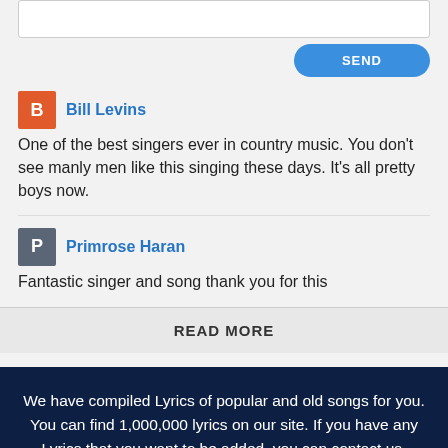Bill Levins
One of the best singers ever in country music. You don't see manly men like this singing these days. It's all pretty boys now.
Primrose Haran
Fantastic singer and song thank you for this
READ MORE
We have compiled Lyrics of popular and old songs for you. You can find 1,000,000 lyrics on our site. If you have any Lyrics that you want to be added, you can contact us.